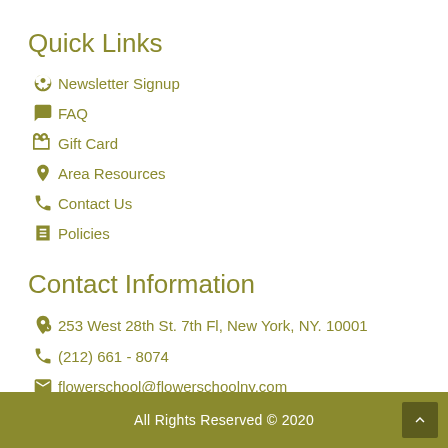Quick Links
Newsletter Signup
FAQ
Gift Card
Area Resources
Contact Us
Policies
Contact Information
253 West 28th St. 7th Fl, New York, NY. 10001
(212) 661 - 8074
flowerschool@flowerschoolny.com
All Rights Reserved © 2020